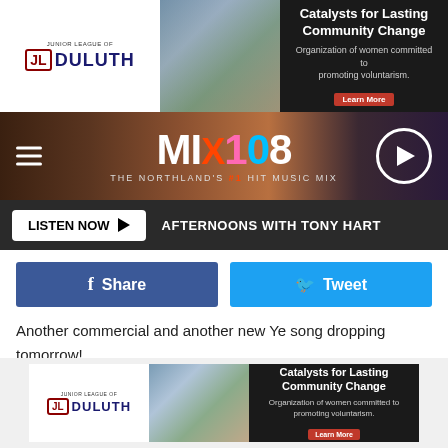[Figure (other): Top banner advertisement for Junior League of Duluth - Catalysts for Lasting Community Change. Organization of women committed to promoting voluntarism. Learn More button.]
[Figure (logo): MIX108 radio station logo - The Northland's #1 Hit Music Mix, with hamburger menu and play button]
LISTEN NOW ▶   AFTERNOONS WITH TONY HART
[Figure (other): Facebook Share button and Twitter Tweet button]
Another commercial and another new Ye song dropping tomorrow!
DONDA out on Friday! Let's goo🎉," she wrote.
Donda will be premiered in full during a sold-out listening at Atlanta's Mercedes-Benz Stadium on Thursday (July 22). This particular event will be livestreamed on Apple Music as well.
[Figure (other): Bottom banner advertisement for Junior League of Duluth - Catalysts for Lasting Community Change. Organization of women committed to promoting voluntarism. Learn More button.]